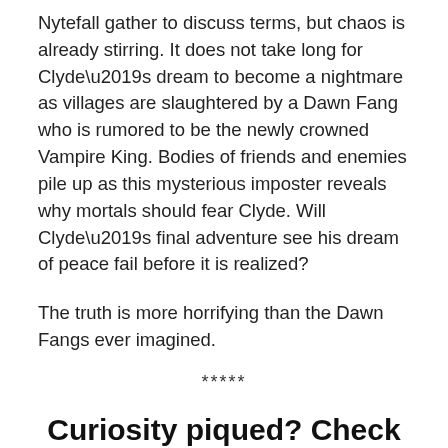Nytefall gather to discuss terms, but chaos is already stirring. It does not take long for Clyde’s dream to become a nightmare as villages are slaughtered by a Dawn Fang who is rumored to be the newly crowned Vampire King. Bodies of friends and enemies pile up as this mysterious imposter reveals why mortals should fear Clyde. Will Clyde’s final adventure see his dream of peace fail before it is realized?
The truth is more horrifying than the Dawn Fangs ever imagined.
*****
Curiosity piqued? Check out this